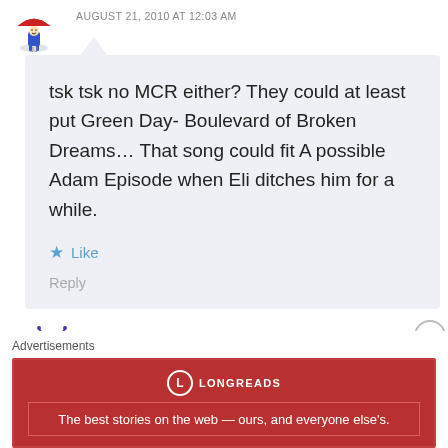AUGUST 21, 2010 AT 12:03 AM
tsk tsk no MCR either? They could at least put Green Day- Boulevard of Broken Dreams... That song could fit A possible Adam Episode when Eli ditches him for a while.
Like
Reply
[Figure (illustration): Avatar icon: cartoon umbrella person character]
person
AUGUST 21, 2010 AT 12:36 AM
[Figure (illustration): Avatar icon: cartoon purple bug/monster character]
Advertisements
[Figure (screenshot): Longreads advertisement banner: red background with Longreads logo and tagline 'The best stories on the web — ours, and everyone else's.']